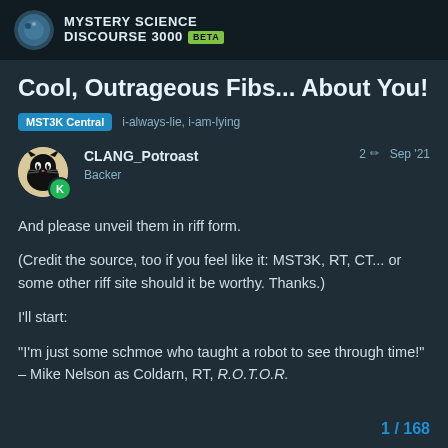MYSTERY SCIENCE DISCOURSE 3000 BETA
Cool, Outrageous Fibs... About You!
MST3K Central   i-always-lie, i-am-lying
CLANG_Potroast Backer  2  Sep '21
And please unveil them in riff form.

(Credit the source, too if you feel like it: MST3K, RT, CT... or some other riff site should it be worthy. Thanks.)

I'll start:

“I’m just some schmoe who taught a robot to see through time!” – Mike Nelson as Coldarn, RT, R.O.T.O.R.
1 / 168